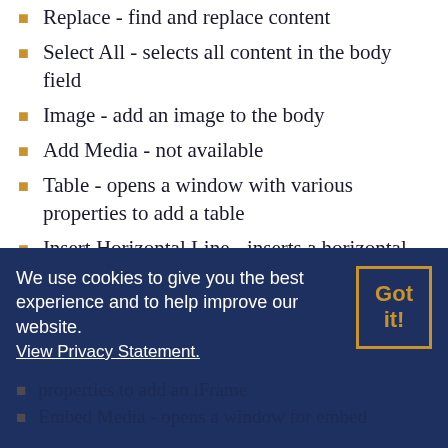Replace - find and replace content
Select All - selects all content in the body field
Image - add an image to the body
Add Media - not available
Table - opens a window with various properties to add a table
Insert Horizontal Line - inserts a horizontal line
Insert Special Character - opens a window of special characters can be placed in the copy
We use cookies to give you the best experience and to help improve our website. View Privacy Statement.